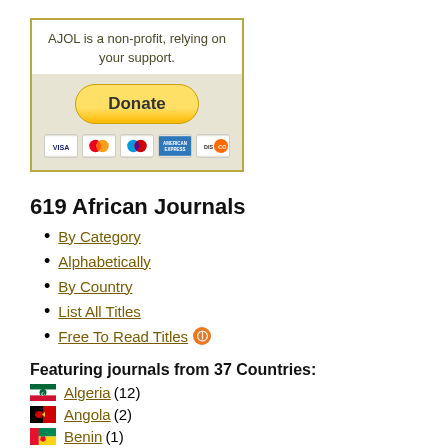[Figure (infographic): AJOL donate box with PayPal donate button and credit card icons (Visa, Mastercard, Maestro, American Express, Discover)]
619 African Journals
By Category
Alphabetically
By Country
List All Titles
Free To Read Titles
Featuring journals from 37 Countries:
Algeria (12)
Angola (2)
Benin (1)
Botswana (3)
Burkina Faso (3)
Burundi (1)